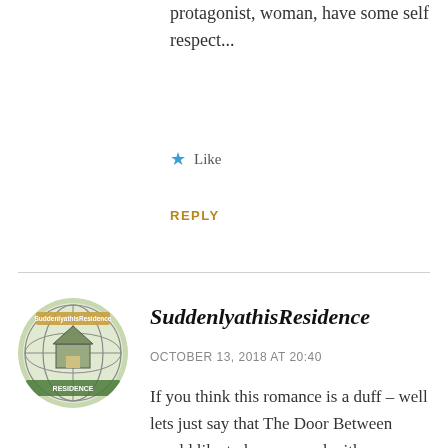protagonist, woman, have some self respect...
Like
REPLY
[Figure (illustration): Circular avatar logo for SuddenlyathisResidence blog, showing a globe with a building/house illustration in green and white tones]
SuddenlyathisResidence
OCTOBER 13, 2018 AT 20:40
If you think this romance is a duff – well lets just say that The Door Between would like to have a word with you on that topic ( a book that I assume is your next Queen read?). O...